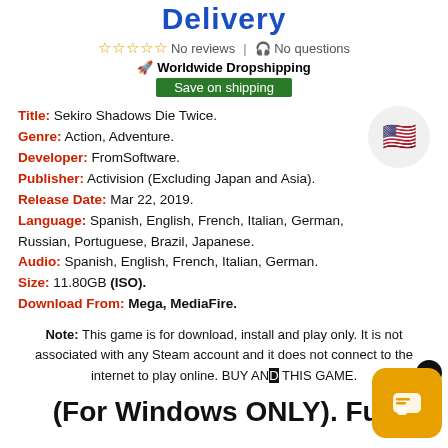Delivery
☆☆☆☆☆ No reviews | 🎧 No questions
🚀 Worldwide Dropshipping
Save on shipping
Title: Sekiro Shadows Die Twice.
Genre: Action, Adventure.
Developer: FromSoftware.
Publisher: Activision (Excluding Japan and Asia).
Release Date: Mar 22, 2019.
Language: Spanish, English, French, Italian, German, Russian, Portuguese, Brazil, Japanese.
Audio: Spanish, English, French, Italian, German.
Size: 11.80GB (ISO).
Download From: Mega, MediaFire.
Note: This game is for download, install and play only. It is not associated with any Steam account and it does not connect to the internet to play online. BUY AND THIS GAME.
(For Windows ONLY). Full